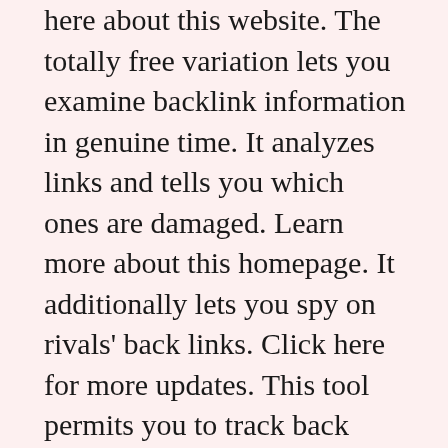here about this website. The totally free variation lets you examine backlink information in genuine time. It analyzes links and tells you which ones are damaged. Learn more about this homepage. It additionally lets you spy on rivals' back links. Click here for more updates. This tool permits you to track back links to learn more about the performance of your competitors as well as boost your very own technique. Learn more about these service. In addition to these, you can also attempt Response the general public, which gives beneficial data about the efficiency of your web site in regards to search engines. Read more now about this service. Advanced Web Position. This tool has actually been around for several years and also uses a wide range of info on website fads. View here about this article. It can keep an eye on over 3,000 internet search engine and greater than 170 countries. Check here! about this website. It also supports Baidu, Yandex, Amazon.com, YouTube, and also others. Read more